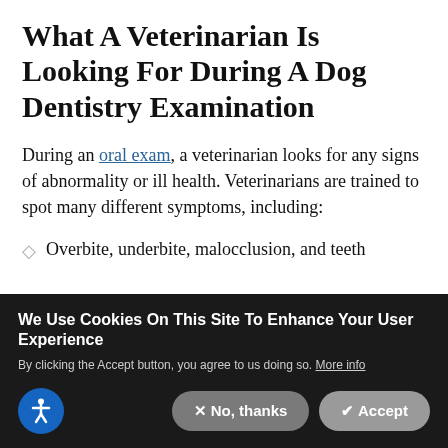What A Veterinarian Is Looking For During A Dog Dentistry Examination
During an oral exam, a veterinarian looks for any signs of abnormality or ill health. Veterinarians are trained to spot many different symptoms, including:
Overbite, underbite, malocclusion, and teeth
We Use Cookies On This Site To Enhance Your User Experience
By clicking the Accept button, you agree to us doing so. More info